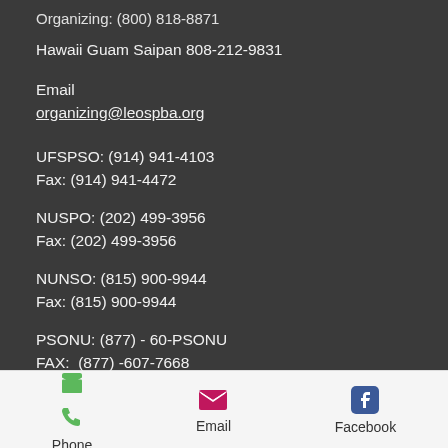Organizing: (800) 818-8871
Hawaii Guam Saipan 808-212-9831
Email
organizing@leospba.org
UFSPSO: (914) 941-4103
Fax: (914) 941-4472
NUSPO: (202) 499-3956
Fax: (202) 499-3956
NUNSO: (815) 900-9944
Fax: (815) 900-9944
PSONU: (877) - 60-PSONU
FAX: (877) -607-7668
Phone   Email   Facebook